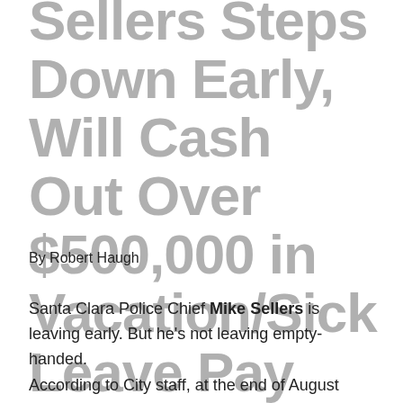Sellers Steps Down Early, Will Cash Out Over $500,000 in Vacation/Sick Leave Pay
By Robert Haugh
Santa Clara Police Chief Mike Sellers is leaving early. But he's not leaving empty-handed.
According to City staff, at the end of August 2019, Sellers...